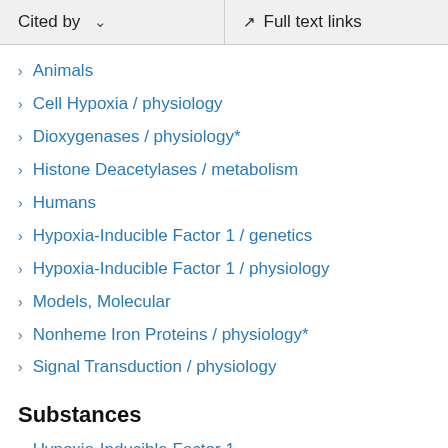Cited by   Full text links
Animals
Cell Hypoxia / physiology
Dioxygenases / physiology*
Histone Deacetylases / metabolism
Humans
Hypoxia-Inducible Factor 1 / genetics
Hypoxia-Inducible Factor 1 / physiology
Models, Molecular
Nonheme Iron Proteins / physiology*
Signal Transduction / physiology
Substances
Hypoxia-Inducible Factor 1
Nonheme Iron Proteins
Dioxygenases